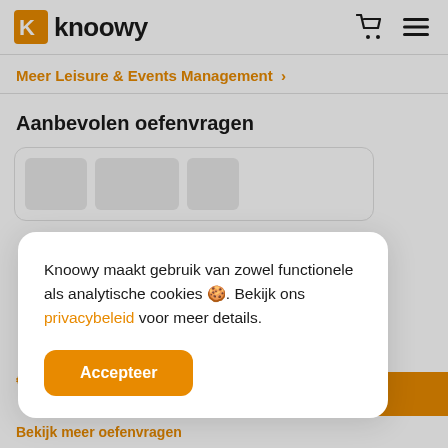knoowy
Meer Leisure & Events Management >
Aanbevolen oefenvragen
[Figure (screenshot): Partial card row with grey placeholder image blocks inside a rounded white card]
Knoowy maakt gebruik van zowel functionele als analytische cookies 🍪. Bekijk ons privacybeleid voor meer details.
Accepteer
€
Bekijk meer oefenvragen